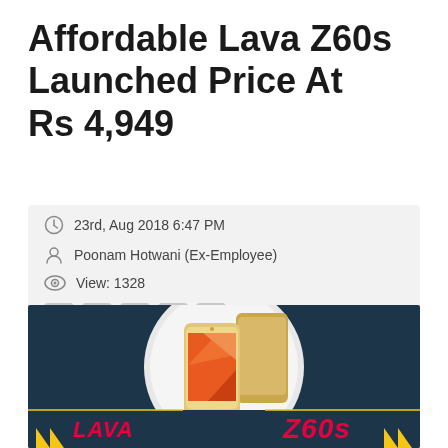Affordable Lava Z60s Launched Price At Rs 4,949
23rd, Aug 2018 6:47 PM
Poonam Hotwani (Ex-Employee)
View: 1328
[Figure (photo): Lava Z60s smartphone product banner with dark navy background, white circular backdrop behind phone, LAVA logo in red italic on left, Z60s text in red italic on right, yellow arrow accents on both sides]